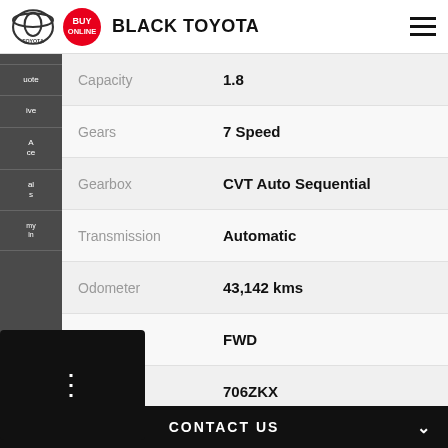BLACK TOYOTA
| Field | Value |
| --- | --- |
| Capacity | 1.8 |
| Gears | 7 Speed |
| Gearbox | CVT Auto Sequential |
| Transmission | Automatic |
| Odometer | 43,142 kms |
| Drive Type | FWD |
| Rego | 706ZKX |
| No | W28089 |
| VIN | JTDB43CE40J044602 |
CONTACT US